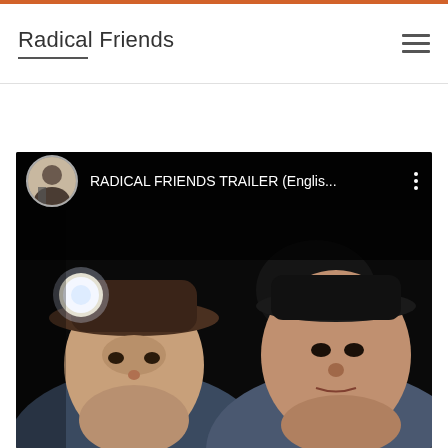Radical Friends
[Figure (screenshot): YouTube video embed showing 'RADICAL FRIENDS TRAILER (Englis...' with a channel avatar of a person, three-dot menu icon, and a film still showing two people wearing miners' hats with headlamps in a dark setting]